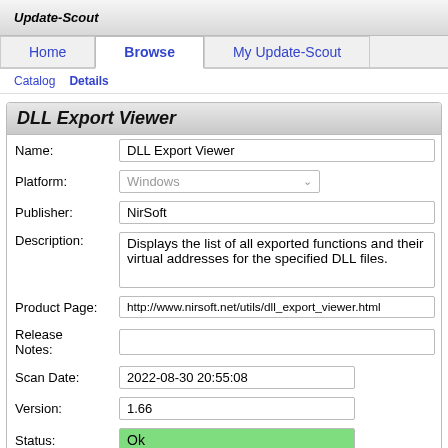Update-Scout
DLL Export Viewer
| Field | Value |
| --- | --- |
| Name: | DLL Export Viewer |
| Platform: | Windows |
| Publisher: | NirSoft |
| Description: | Displays the list of all exported functions and their virtual addresses for the specified DLL files. |
| Product Page: | http://www.nirsoft.net/utils/dll_export_viewer.html |
| Release Notes: |  |
| Scan Date: | 2022-08-30 20:55:08 |
| Version: | 1.66 |
| Status: | Ok |
Updates
2016-11-15
New Version
1.66